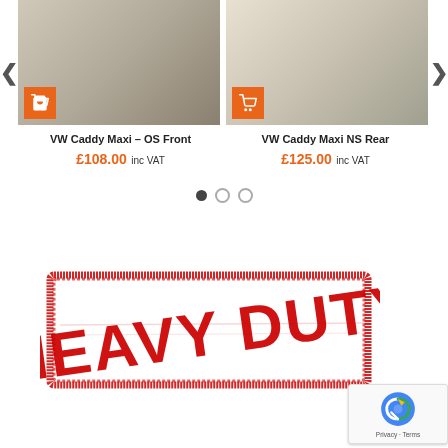[Figure (screenshot): E-commerce product carousel showing two VW Caddy Maxi van shelving products with orange cart buttons, product names and prices, carousel navigation dots and arrows.]
VW Caddy Maxi – OS Front
£108.00 inc VAT
VW Caddy Maxi NS Rear
£125.00 inc VAT
[Figure (illustration): Red rubber stamp style graphic reading HEAVY DUTY in bold capital letters with a distressed/grunge border rectangle effect, tilted slightly.]
[Figure (logo): Google reCAPTCHA badge in bottom right corner showing reCAPTCHA logo with Privacy and Terms links.]